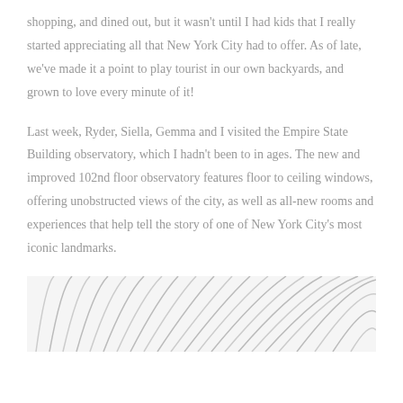shopping, and dined out, but it wasn't until I had kids that I really started appreciating all that New York City had to offer. As of late, we've made it a point to play tourist in our own backyards, and grown to love every minute of it!
Last week, Ryder, Siella, Gemma and I visited the Empire State Building observatory, which I hadn't been to in ages. The new and improved 102nd floor observatory features floor to ceiling windows, offering unobstructed views of the city, as well as all-new rooms and experiences that help tell the story of one of New York City's most iconic landmarks.
[Figure (photo): Bottom portion of a photo showing curved architectural lines or decorative spiral/coil elements in light grey/silver tones against a white background.]